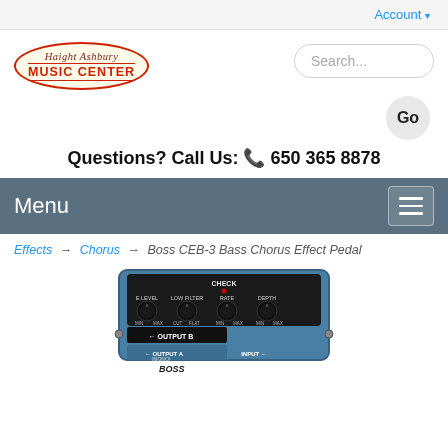Account ▾
[Figure (logo): Haight Ashbury Music Center oval logo with red border and italic script text]
Search...
Go
Questions? Call Us: 📞 650 365 8878
Menu
Effects → Chorus → Boss CEB-3 Bass Chorus Effect Pedal
[Figure (photo): Boss CEB-3 Bass Chorus Effect Pedal product image showing a blue guitar effects pedal with four knobs labeled E.LEVEL, LOW FILTER, RATE, DEPTH and OUTPUT B, OUTPUT A (MONO), and INPUT connectors]